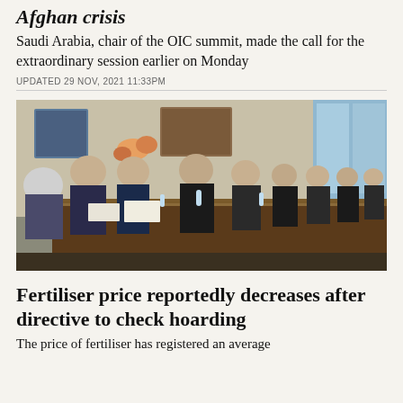Afghan crisis
Saudi Arabia, chair of the OIC summit, made the call for the extraordinary session earlier on Monday
UPDATED 29 NOV, 2021 11:33PM
[Figure (photo): Group of men in suits and formal wear seated at a large conference table in a meeting room, with artwork and flowers visible in the background.]
Fertiliser price reportedly decreases after directive to check hoarding
The price of fertiliser has registered an average